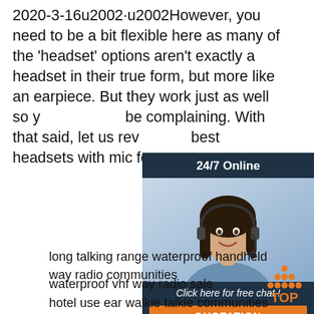2020-3-16u2002·u2002However, you need to be a bit flexible here as many of the 'headset' options aren't exactly a headset in their true form, but more like an earpiece. But they work just as well so y be complaining. With that said, let us rev best headsets with mic for your two way
[Figure (illustration): Chat widget with woman wearing headset, '24/7 Online' header, 'Click here for free chat!' text, and orange QUOTATION button]
[Figure (other): Orange 'Get Price' button]
long talking range waterproof handheld way radio communities
waterproof vhf way radio sale
hotel use ear walkie talkie communities
new launch kenwood walkie talkie long range slim
[Figure (logo): TOP icon with orange dots arranged in triangle above orange TOP text]